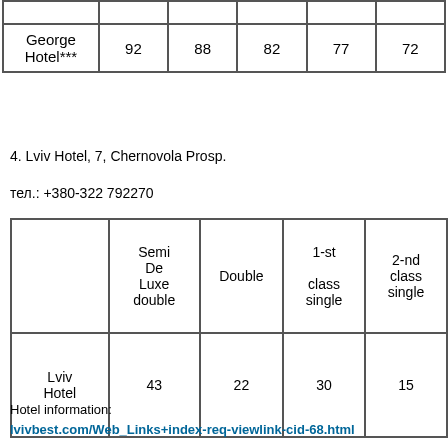|  |  |  |  |  |  |
| --- | --- | --- | --- | --- | --- |
|  |  |  |  |  |  |
| George Hotel*** | 92 | 88 | 82 | 77 | 72 |
4. Lviv Hotel, 7, Chernovola Prosp.
тел.: +380-322 792270
|  | Semi De Luxe double | Double | 1-st class single | 2-nd class single |
| --- | --- | --- | --- | --- |
| Lviv Hotel | 43 | 22 | 30 | 15 |
Hotel information:
lvivbest.com/Web_Links+index-req-viewlink-cid-68.html